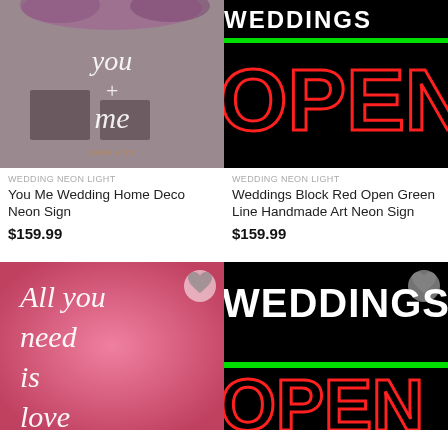[Figure (photo): You Me wedding cursive white neon sign on rustic brick wall with floral decoration]
WEDDING NEON LIGHT
You Me Wedding Home Deco Neon Sign
$159.99
[Figure (photo): Weddings Block letters and red OPEN neon sign with green line on black background]
WEDDING NEON LIGHT
Weddings Block Red Open Green Line Handmade Art Neon Sign
$159.99
[Figure (photo): All you need is love pink neon sign on pink background with wishlist heart icon]
[Figure (photo): WEDDINGS text and OPEN neon sign on black background with green line, wishlist heart icon]